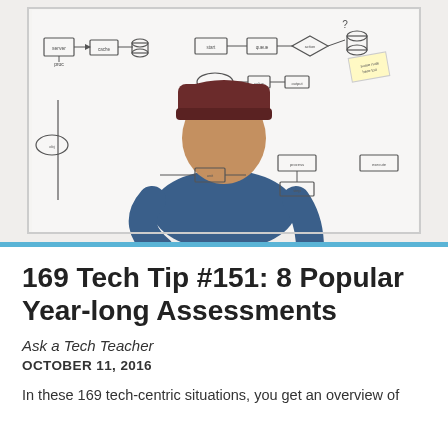[Figure (photo): Person wearing a dark red beanie hat and blue t-shirt seen from behind, writing or drawing a flowchart/diagram on a large whiteboard]
169 Tech Tip #151: 8 Popular Year-long Assessments
Ask a Tech Teacher
OCTOBER 11, 2016
In these 169 tech-centric situations, you get an overview of